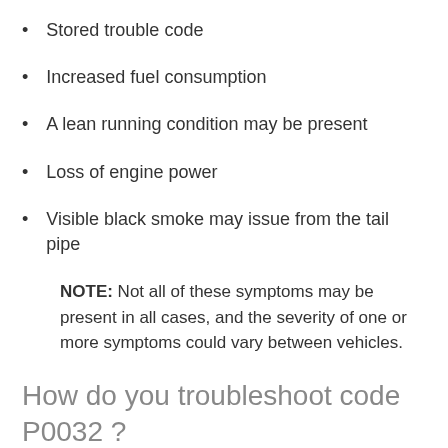Stored trouble code
Increased fuel consumption
A lean running condition may be present
Loss of engine power
Visible black smoke may issue from the tail pipe
NOTE: Not all of these symptoms may be present in all cases, and the severity of one or more symptoms could vary between vehicles.
How do you troubleshoot code P0032 ?
NOTE #1: Since each oxygen sensor has its own dedicated heater control circuit, you will need to have a